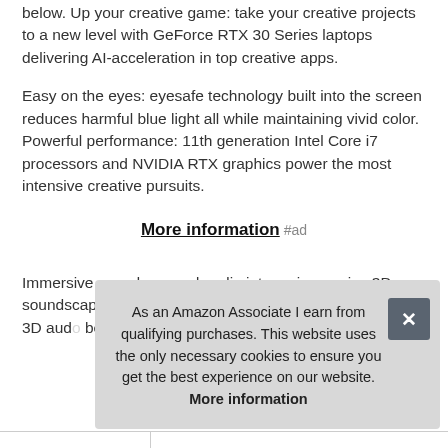below. Up your creative game: take your creative projects to a new level with GeForce RTX 30 Series laptops delivering AI-acceleration in top creative apps.
Easy on the eyes: eyesafe technology built into the screen reduces harmful blue light all while maintaining vivid color. Powerful performance: 11th generation Intel Core i7 processors and NVIDIA RTX graphics power the most intensive creative pursuits.
More information #ad
Immersive sound: expand audio into an immersive 3D soundscape with our quad speaker design and Waves Nx 3D aud... be r... side...
As an Amazon Associate I earn from qualifying purchases. This website uses the only necessary cookies to ensure you get the best experience on our website. More information